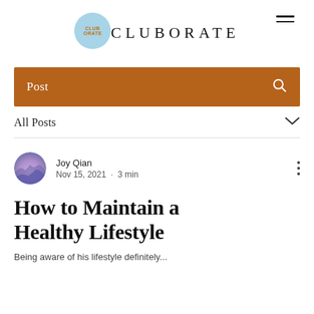CLUBORATE
Post
All Posts
Joy Qian
Nov 15, 2021 · 3 min
How to Maintain a Healthy Lifestyle
Being aware of his lifestyle definitely...